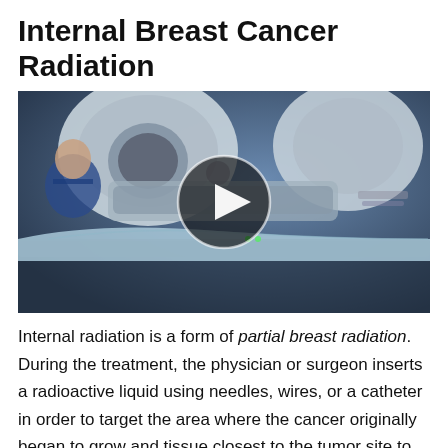Internal Breast Cancer Radiation
[Figure (photo): A patient lying on a radiation therapy table being positioned inside a large radiotherapy machine, with a medical professional in blue scrubs visible in the background. A circular play button overlay is centered on the image indicating this is a video thumbnail.]
Internal radiation is a form of partial breast radiation. During the treatment, the physician or surgeon inserts a radioactive liquid using needles, wires, or a catheter in order to target the area where the cancer originally began to grow and tissue closest to the tumor site to kill any possible remaining cancer cells.